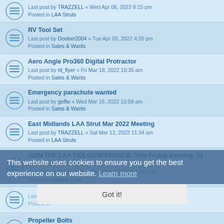RV Tool Set — Last post by Doober2004 « Tue Apr 05, 2022 4:26 pm — Posted in Sales & Wants
Aero Angle Pro360 Digital Protractor — Last post by rtl_flyer « Fri Mar 18, 2022 10:35 am — Posted in Sales & Wants
Emergency parachute wanted — Last post by geffw « Wed Mar 16, 2022 10:58 am — Posted in Sales & Wants
East Midlands LAA Strut Mar 2022 Meeting — Last post by TRAZZELL « Sat Mar 12, 2022 11:34 am — Posted in LAA Struts
JOIN THE LAA YES CONFERENCE. This Friday evening. 11 March. 7pm to 9pm. — Last post by Steve Slater « Tue Mar 08, 2022 12:49 pm — Posted in Hangar Chat
Last post by holmesj « Thu Mar 03, 2022 5:04 pm — Posted in (partial)
Propeller Bolts — Last post by mikehallam « Thu Mar 03, 2022 11:50 am — Posted in Aircraft Construction & Maintenance
LAA and POOLEYS LAUNCH 'SPRING SOLO' BURSARY — Last post by Steve Slater « Tue Mar 01, 2022 9:11 am — Posted in Hangar Chat
This website uses cookies to ensure you get the best experience on our website. Learn more
Got it!